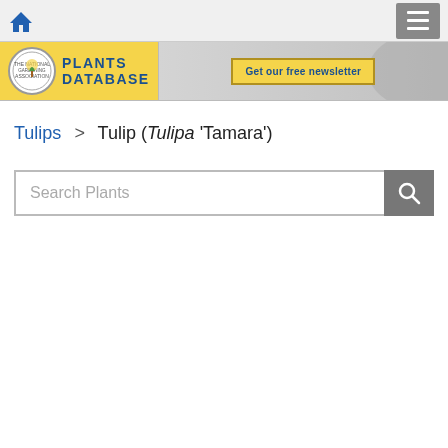Plants Database - National Gardening Association
Tulips > Tulip (Tulipa 'Tamara')
Search Plants